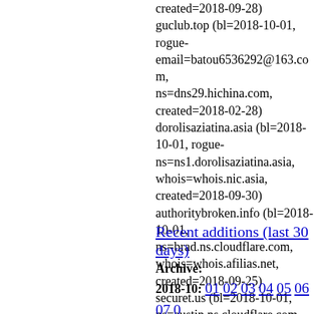created=2018-09-28) guclub.top (bl=2018-10-01, rogue-email=batou6536292@163.com, ns=dns29.hichina.com, created=2018-02-28) dorolisaziatina.asia (bl=2018-10-01, rogue-ns=ns1.dorolisaziatina.asia, whois=whois.nic.asia, created=2018-09-30) authoritybroken.info (bl=2018-10-01, ns=brad.ns.cloudflare.com, whois=whois.afilias.net, created=2018-09-25) securet.us (bl=2018-10-01, ns=austin.ns.cloudflare.com, whois=whois.nic.us, created=2018-09-27)
Recent additions (last 30 days)
Archive: 2018-10: 01 02 03 04 05 06 07 10 11 12 13 14 15 16 17 18 19 22 23 24 25 26 27 28 29 30 31 2018-09: 01 02 03 04 05 06 07